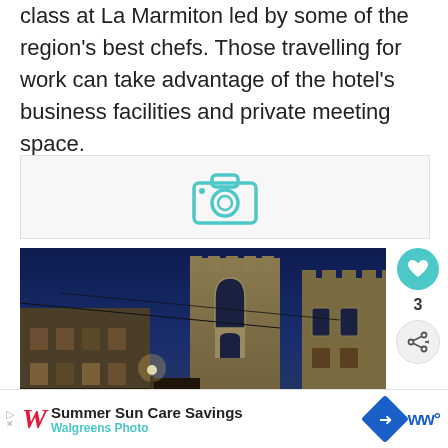class at La Marmiton led by some of the region's best chefs. Those travelling for work can take advantage of the hotel's business facilities and private meeting space.
[Figure (photo): Camera icon placeholder for photo gallery]
[Figure (photo): Night-time photo of a historic stone building/cathedral illuminated with warm lights, with outdoor dining area with white canopy tents in the foreground. A 'What's Next' overlay shows Mas Château Blanc - 5*...]
[Figure (other): Advertisement bar: Summer Sun Care Savings - Walgreens Photo]